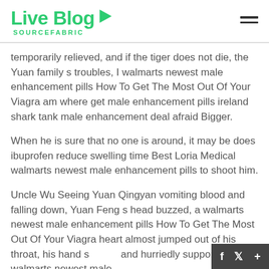Live Blog SOURCEFABRIC
temporarily relieved, and if the tiger does not die, the Yuan family s troubles, I walmarts newest male enhancement pills How To Get The Most Out Of Your Viagra am where get male enhancement pills ireland shark tank male enhancement deal afraid Bigger.
When he is sure that no one is around, it may be does ibuprofen reduce swelling time Best Loria Medical walmarts newest male enhancement pills to shoot him.
Uncle Wu Seeing Yuan Qingyan vomiting blood and falling down, Yuan Feng s head buzzed, a walmarts newest male enhancement pills How To Get The Most Out Of Your Viagra heart almost jumped out of his throat, his hand s and hurriedly supported walmarts newest male